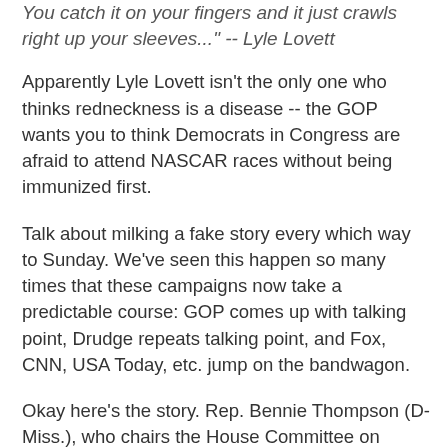You catch it on your fingers and it just crawls right up your sleeves..." -- Lyle Lovett
Apparently Lyle Lovett isn't the only one who thinks redneckness is a disease -- the GOP wants you to think Democrats in Congress are afraid to attend NASCAR races without being immunized first.
Talk about milking a fake story every which way to Sunday. We've seen this happen so many times that these campaigns now take a predictable course: GOP comes up with talking point, Drudge repeats talking point, and Fox, CNN, USA Today, etc. jump on the bandwagon.
Okay here's the story. Rep. Bennie Thompson (D-Miss.), who chairs the House Committee on Homeland Security, is sending delegations to healthcare facilities at NASCAR tracks and other mass gathering sites:
The committee is examining whether the U.S. Department of Homeland Security is coordinating with state, local and private law-enforcement and health care responders to prepare for possible